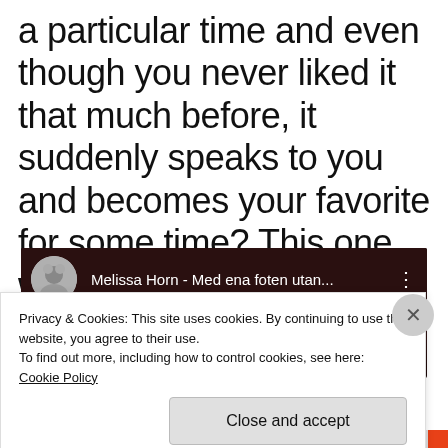a particular time and even though you never liked it that much before, it suddenly speaks to you and becomes your favorite for some time? This one works for work and life.
[Figure (screenshot): A YouTube video thumbnail for 'Melissa Horn - Med ena foten utan...' with a dark background and a circular avatar icon, partially obscured by a cookie consent overlay. The cookie overlay reads: 'Privacy & Cookies: This site uses cookies. By continuing to use this website, you agree to their use. To find out more, including how to control cookies, see here: Cookie Policy' with a 'Close and accept' button. A red/black progress bar is visible at the bottom.]